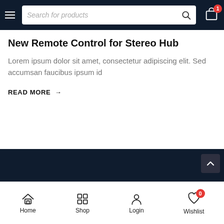Search for products [nav bar with hamburger, search, cart badge=1]
New Remote Control for Stereo Hub
Lorem ipsum dolor sit amet, consectetur adipiscing elit. Sed accumsan faucibus ipsum id
READ MORE →
LOAD MORE
Home | Shop | Login | Wishlist (badge: 0)